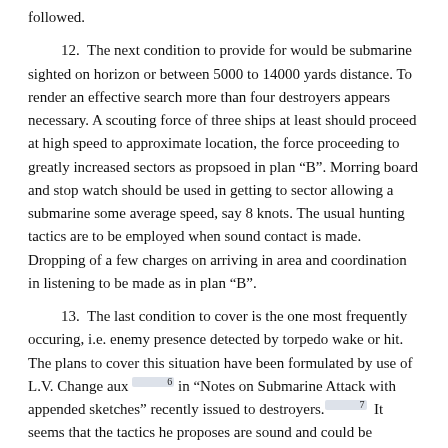followed.
12.  The next condition to provide for would be submarine sighted on horizon or between 5000 to 14000 yards distance. To render an effective search more than four destroyers appears necessary. A scouting force of three ships at least should proceed at high speed to approximate location, the force proceeding to greatly increased sectors as propsoed in plan “B”. Morring board and stop watch should be used in getting to sector allowing a submarine some average speed, say 8 knots. The usual hunting tactics are to be employed when sound contact is made. Dropping of a few charges on arriving in area and coordination in listening to be made as in plan “B”.
13.  The last condition to cover is the one most frequently occuring, i.e. enemy presence detected by torpedo wake or hit. The plans to cover this situation have been formulated by use of L.V. Change aux 6 in “Notes on Submarine Attack with appended sketches” recently issued to destroyers. 7  It seems that the tactics he proposes are sound and could be adapted to a plan “D” with some modifications. In any plan provision must be made for a stern tube shot and the authors diagram fulfill this condition.